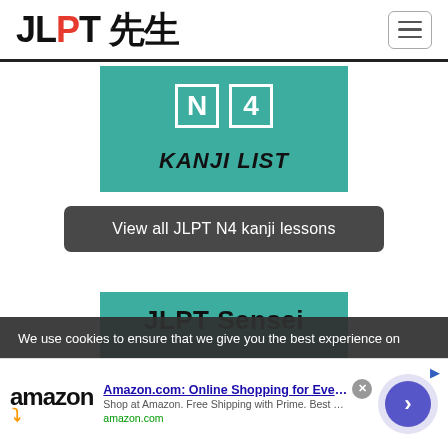JLPT 先生
[Figure (illustration): Teal/green banner card showing 'N4 KANJI LIST' with white bordered N box and bold italic text]
View all JLPT N4 kanji lessons
[Figure (illustration): Teal/green banner card showing 'JLPT Sensei' with bold black text on teal background]
We use cookies to ensure that we give you the best experience on
Amazon.com: Online Shopping for Everyone
Shop at Amazon. Free Shipping with Prime. Best Deals Ever!
amazon.com